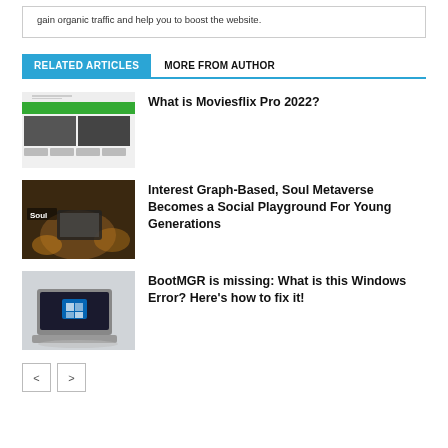gain organic traffic and help you to boost the website.
RELATED ARTICLES    MORE FROM AUTHOR
[Figure (screenshot): Thumbnail of Moviesflix Pro website showing a movie streaming interface with green header and movie posters]
What is Moviesflix Pro 2022?
[Figure (photo): Dark bokeh photo showing someone using a tablet, with 'Soul' text overlay - representing Soul Metaverse social app]
Interest Graph-Based, Soul Metaverse Becomes a Social Playground For Young Generations
[Figure (photo): Photo of a laptop with Windows 11 interface on a light surface]
BootMGR is missing: What is this Windows Error? Here's how to fix it!